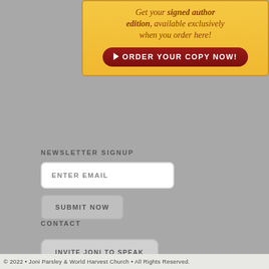[Figure (infographic): Yellow/gold promotional banner with text 'Get your signed author edition, available exclusively when you order here!' and a dark red 'ORDER YOUR COPY NOW!' button with play arrow icon.]
NEWSLETTER SIGNUP
ENTER EMAIL
SUBMIT NOW
CONTACT
INVITE JONI TO SPEAK
© 2022 • Joni Parsley & World Harvest Church • All Rights Reserved.